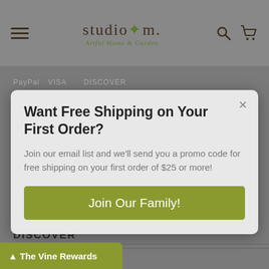[Figure (screenshot): Studio M Artful Home & Garden website header with hamburger menu, logo, search and cart icons on grey background]
Want Free Shipping on Your First Order?
Join our email list and we'll send you a promo code for free shipping on your first order of $25 or more!
Join Our Family!
DISCOVER
CONTACT US
VISIT OUR BLOG
The Vine Rewards